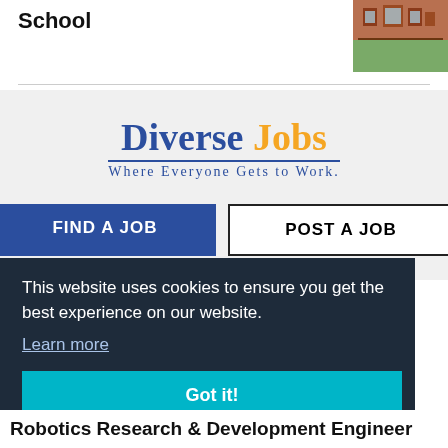School
[Figure (photo): Exterior photo of a school building with lawn]
[Figure (logo): Diverse Jobs logo — 'Diverse' in blue bold, 'Jobs' in orange bold, tagline 'Where Everyone Gets to Work.' in blue]
FIND A JOB
POST A JOB
This website uses cookies to ensure you get the best experience on our website.
Learn more
Got it!
Robotics Research & Development Engineer